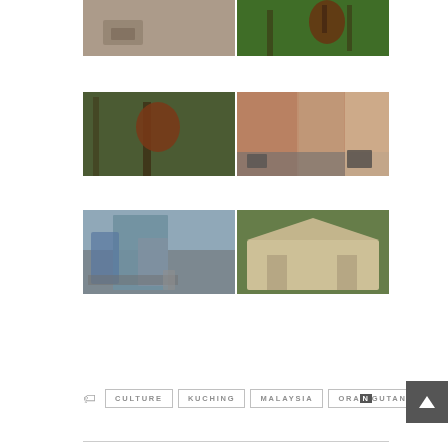[Figure (photo): Two photos side by side: left shows an interior room with a round table; right shows an orangutan in a green jungle tree]
[Figure (photo): Two photos side by side: left shows an orangutan clinging to a tree trunk in jungle; right shows a street scene with shophouses and parked cars]
[Figure (photo): Two photos side by side: left shows a modern building with traditional gate in Malaysia (Kuching); right shows a colonial-style bungalow house with veranda]
CULTURE
KUCHING
MALAYSIA
ORANGUTAN